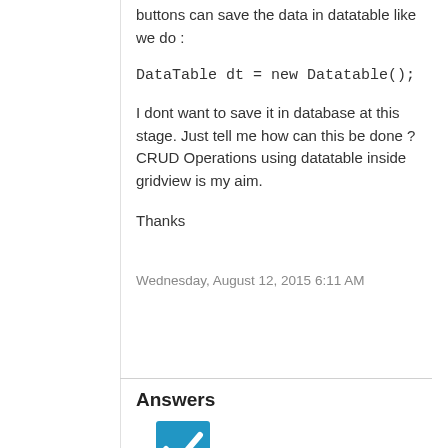buttons can save the data in datatable like we do :
DataTable dt = new Datatable();
I dont want to save it in database at this stage. Just tell me how can this be done ? CRUD Operations using datatable inside gridview is my aim.
Thanks
Wednesday, August 12, 2015 6:11 AM
Answers
[Figure (other): Blue checkbox icon with white checkmark, and a grey upward triangle vote button below it]